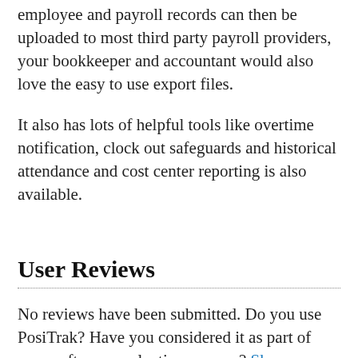employee and payroll records can then be uploaded to most third party payroll providers, your bookkeeper and accountant would also love the easy to use export files.
It also has lots of helpful tools like overtime notification, clock out safeguards and historical attendance and cost center reporting is also available.
User Reviews
No reviews have been submitted. Do you use PosiTrak? Have you considered it as part of your software evaluation process? Share your perspective by writing a review, and help other organizations like yours make smarter, more informed software